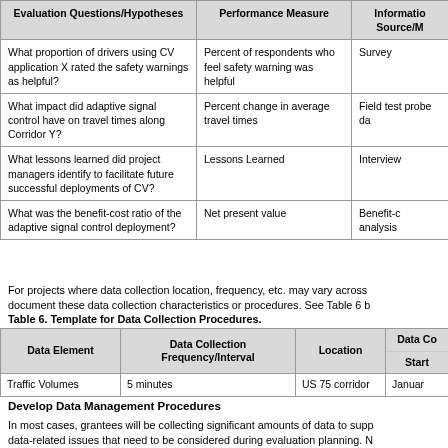| Evaluation Questions/Hypotheses | Performance Measure | Information Source/M |
| --- | --- | --- |
| What proportion of drivers using CV application X rated the safety warnings as helpful? | Percent of respondents who feel safety warning was helpful | Survey |
| What impact did adaptive signal control have on travel times along Corridor Y? | Percent change in average travel times | Field test probe da |
| What lessons learned did project managers identify to facilitate future successful deployments of CV? | Lessons Learned | Interview |
| What was the benefit-cost ratio of the adaptive signal control deployment? | Net present value | Benefit-c analysis |
For projects where data collection location, frequency, etc. may vary across document these data collection characteristics or procedures. See Table 6 b
Table 6. Template for Data Collection Procedures.
| Data Element | Data Collection Frequency/Interval | Location | Data Co Start |
| --- | --- | --- | --- |
| Traffic Volumes | 5 minutes | US 75 corridor | Januar |
Develop Data Management Procedures
In most cases, grantees will be collecting significant amounts of data to supp data-related issues that need to be considered during evaluation planning. N